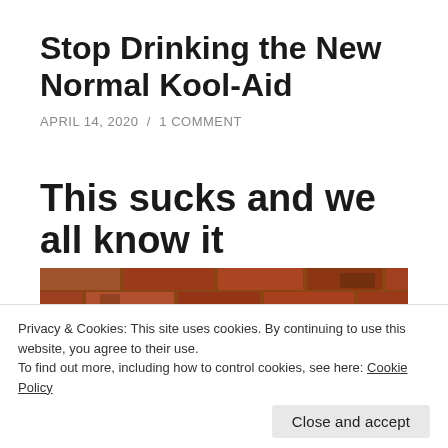Stop Drinking the New Normal Kool-Aid
APRIL 14, 2020 / 1 COMMENT
This sucks and we all know it
[Figure (photo): Brick wall with yellow surface visible below]
Privacy & Cookies: This site uses cookies. By continuing to use this website, you agree to their use.
To find out more, including how to control cookies, see here: Cookie Policy
Close and accept